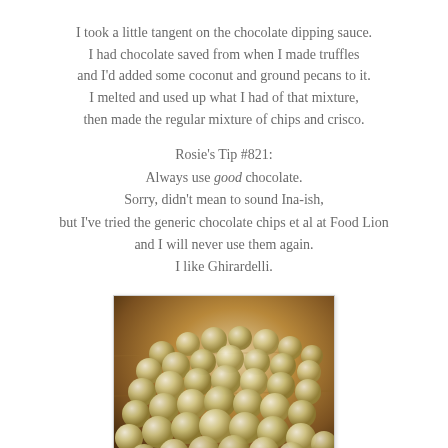I took a little tangent on the chocolate dipping sauce. I had chocolate saved from when I made truffles and I'd added some coconut and ground pecans to it. I melted and used up what I had of that mixture, then made the regular mixture of chips and crisco.
Rosie's Tip #821:
Always use good chocolate.
Sorry, didn't mean to sound Ina-ish,
but I've tried the generic chocolate chips et al at Food Lion
and I will never use them again.
I like Ghirardelli.
[Figure (photo): A photo of many round white/cream-colored chocolate truffles or candy balls arranged on a wooden surface, lit with warm natural light.]